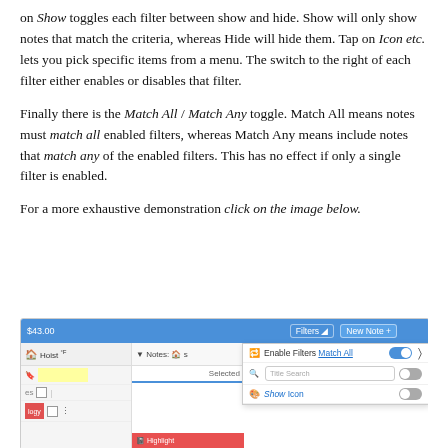on Show toggles each filter between show and hide. Show will only show notes that match the criteria, whereas Hide will hide them. Tap on Icon etc. lets you pick specific items from a menu. The switch to the right of each filter either enables or disables that filter.
Finally there is the Match All / Match Any toggle. Match All means notes must match all enabled filters, whereas Match Any means include notes that match any of the enabled filters. This has no effect if only a single filter is enabled.
For a more exhaustive demonstration click on the image below.
[Figure (screenshot): Screenshot of a notes application UI showing a blue toolbar with Filters and New Note buttons, a dropdown panel with Enable Filters Match All toggle (turned on), a Title Search field, and a Show Icon toggle. The left panel shows note rows with colored cells.]